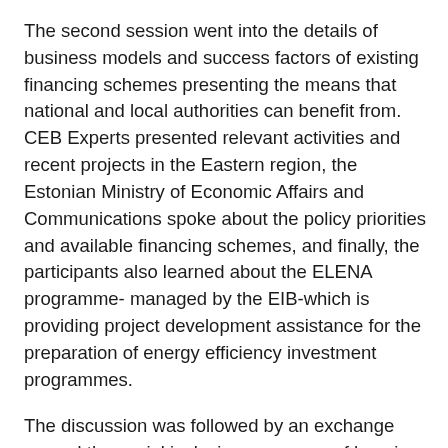The second session went into the details of business models and success factors of existing financing schemes presenting the means that national and local authorities can benefit from. CEB Experts presented relevant activities and recent projects in the Eastern region, the Estonian Ministry of Economic Affairs and Communications spoke about the policy priorities and available financing schemes, and finally, the participants also learned about the ELENA programme- managed by the EIB-which is providing project development assistance for the preparation of energy efficiency investment programmes.
The discussion was followed by an exchange around the social inclusion measures of housing providers through a number of examples illustrating that affordable housing is going beyond bricks and mortar, working towards sustainable neighbourhoods. Bilbao Viviendas explained how to link housing with education, health and long-term care in order to